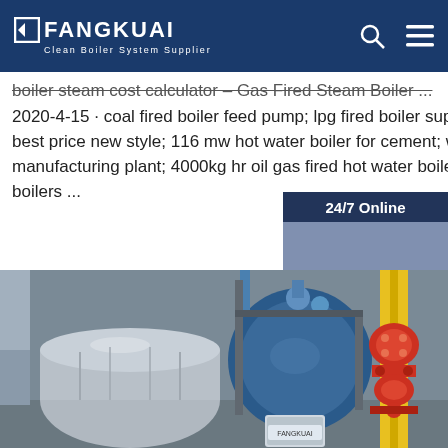FANGKUAI - Clean Boiler System Supplier
boiler steam cost calculator – Gas Fired Steam Boiler ...
2020-4-15 · coal fired boiler feed pump; lpg fired boiler supplier; new style 2 ton gas fired steam boiler best price new style; 116 mw hot water boiler for cement; wood coal mixed boiler for paper manufacturing plant; 4000kg hr oil gas fired hot water boilers; cost for biomass in malaysia; power plant boilers ...
[Figure (photo): Customer service representative with headset, with 24/7 Online badge and Click here for free chat / QUOTATION button overlay]
[Figure (photo): Industrial boiler equipment in a facility, showing blue cylindrical boiler and yellow industrial piping]
Get Price